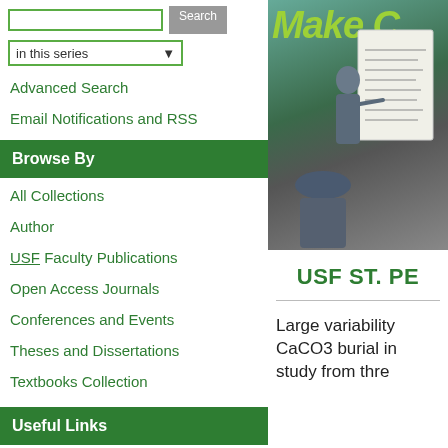in this series [dropdown]
Advanced Search
Email Notifications and RSS
Browse By
All Collections
Author
USF Faculty Publications
Open Access Journals
Conferences and Events
Theses and Dissertations
Textbooks Collection
Useful Links
[Figure (photo): Photo of a classroom or workshop setting with students seated and a presenter pointing at a whiteboard/flipchart. Green 'Make C...' text visible in background.]
USF ST. PE
Large variability CaCO3 burial in study from thre